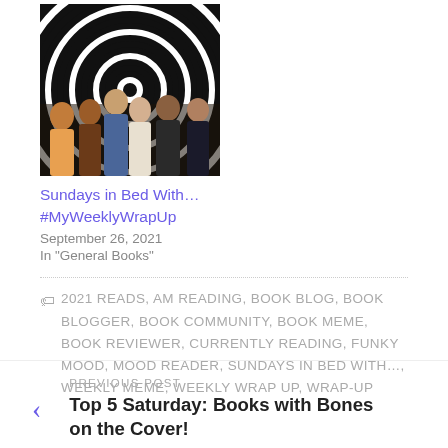[Figure (photo): Group of people posing in front of a black and white spiral background]
Sundays in Bed With… #MyWeeklyWrapUp
September 26, 2021
In "General Books"
2021 READS, AM READING, BOOK BLOG, BOOK BLOGGER, BOOK COMMUNITY, BOOK MEME, BOOK REVIEWER, CURRENTLY READING, FUNKY MOOD, MOOD READER, SUNDAYS IN BED WITH…, WEEKLY MEME, WEEKLY WRAP UP, WRAP-UP
PREVIOUS POST
Top 5 Saturday: Books with Bones on the Cover!